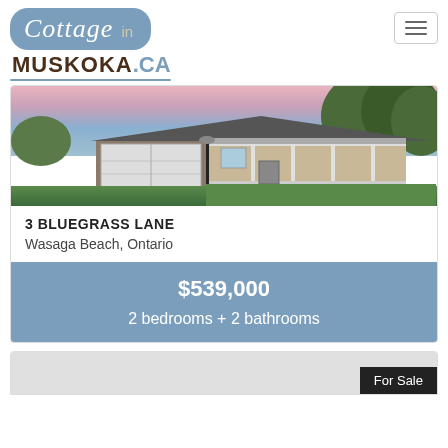[Figure (logo): Cottage in Muskoka.ca logo with rounded rectangle in steel blue and text]
[Figure (photo): Exterior photo of a bungalow with garage, front porch, lamppost, and green lawn against a pink-purple sunset sky]
3 BLUEGRASS LANE
Wasaga Beach, Ontario
$539,000
2 bedrooms + 2 bathrooms
[Figure (photo): Partial second listing card visible at bottom with 'For Sale' badge]